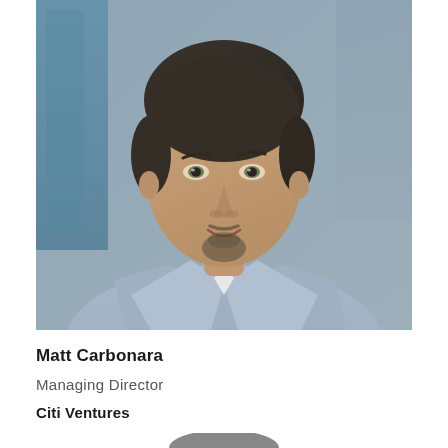[Figure (photo): Professional headshot of Matt Carbonara, a middle-aged man with dark hair, goatee, wearing a light blue/grey collared shirt, photographed against a blurred office background]
Matt Carbonara
Managing Director
Citi Ventures